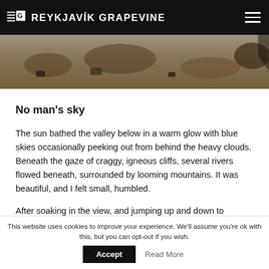THE G REYKJAVÍK GRAPEVINE
[Figure (photo): Partial view of rocky/gravel terrain, top of an outdoor landscape photo]
No man's sky
The sun bathed the valley below in a warm glow with blue skies occasionally peeking out from behind the heavy clouds. Beneath the gaze of craggy, igneous cliffs, several rivers flowed beneath, surrounded by looming mountains. It was beautiful, and I felt small, humbled.
After soaking in the view, and jumping up and down to
This website uses cookies to improve your experience. We'll assume you're ok with this, but you can opt-out if you wish.